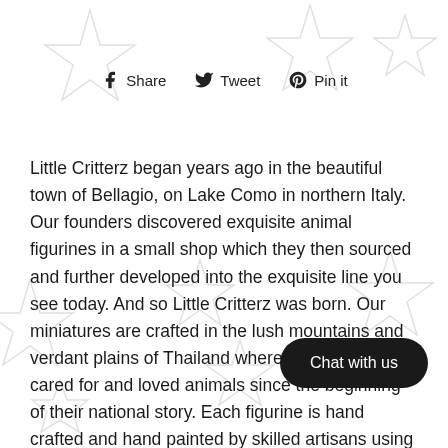[Figure (other): Social share buttons: Facebook Share, Twitter Tweet, Pinterest Pin it]
Little Critterz began years ago in the beautiful town of Bellagio, on Lake Como in northern Italy. Our founders discovered exquisite animal figurines in a small shop which they then sourced and further developed into the exquisite line you see today. And so Little Critterz was born. Our miniatures are crafted in the lush mountains and verdant plains of Thailand where people have cared for and loved animals since the beginning of their national story. Each figurine is hand crafted and hand painted by skilled artisans using brushes only a few hairs thick. Little Critterz product line has Ornaments, Jewelry, Animal Patches, An le on the way. The team at Little Critterz takes inspiration from the diversity of the animal world and delights in the wonderment